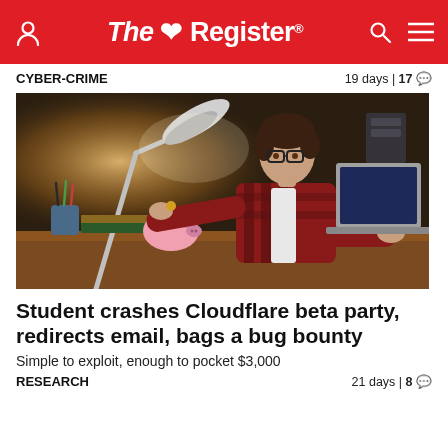The Register
CYBER-CRIME    19 days | 17 comments
[Figure (photo): A teenage boy wearing glasses and a plaid shirt sits at a desk in a dimly lit room, inserting a coin into a pink piggy bank. A desk lamp illuminates the scene. A laptop is open to his right, and there is a pencil holder and books on the desk.]
Student crashes Cloudflare beta party, redirects email, bags a bug bounty
Simple to exploit, enough to pocket $3,000
RESEARCH    21 days | 8 comments